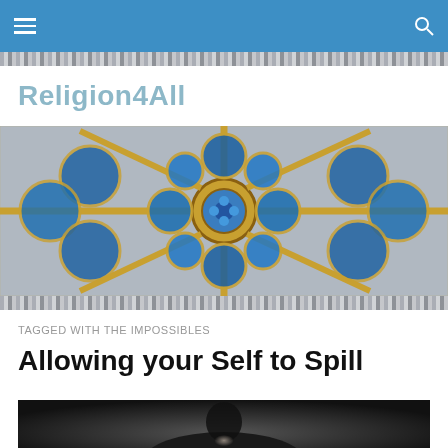Navigation bar with hamburger menu and search icon
[Figure (photo): Stained glass rose window with blue and gold gothic architectural detail, cathedral style]
Religion4All
TAGGED WITH THE IMPOSSIBLES
Allowing your Self to Spill
[Figure (photo): Black and white photo of a silhouetted figure from behind, slightly blurred]